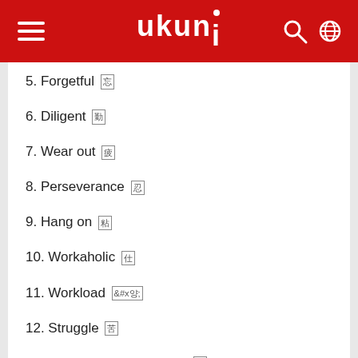ukuni
5. Forgetful 忘れっぽい
6. Diligent 勤勉な
7. Wear out 疲れる
8. Perseverance 忍耐力
9. Hang on 粘る
10. Workaholic 仕事中毒
11. Workload 仕事量
12. Struggle 苦労
13. Continuous exploration 継続的探求
14. Hard-working 勤勉な
返信